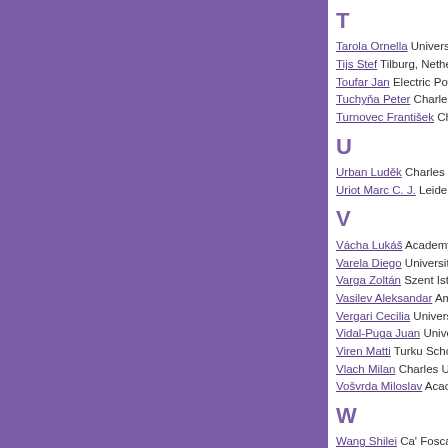T
Tarola Ornella University of
Tijs Stef Tilburg, Netherland
Toufar Jan Electric Power I
Tuchyňa Peter Charles Uni
Turnovec František Charles
U
Urban Luděk Charles Unive
Uriot Marc C. J. Leiden Uni
V
Vácha Lukáš Academy of S
Varela Diego University of A
Varga Zoltán Szent István U
Vasilev Aleksandar Americ
Vergari Cecilia University of
Vidal-Puga Juan University
Viren Matti Turku School of
Vlach Milan Charles Univers
Vošvrda Miloslav Academy
W
Wang Shilei Ca' Foscari U